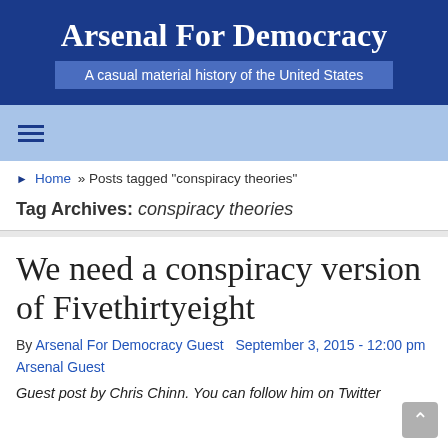Arsenal For Democracy
A casual material history of the United States
[Figure (other): Navigation hamburger menu icon]
Home » Posts tagged "conspiracy theories"
Tag Archives: conspiracy theories
We need a conspiracy version of Fivethirtyeight
By Arsenal For Democracy Guest   September 3, 2015 - 12:00 pm
Arsenal Guest
Guest post by Chris Chinn. You can follow him on Twitter